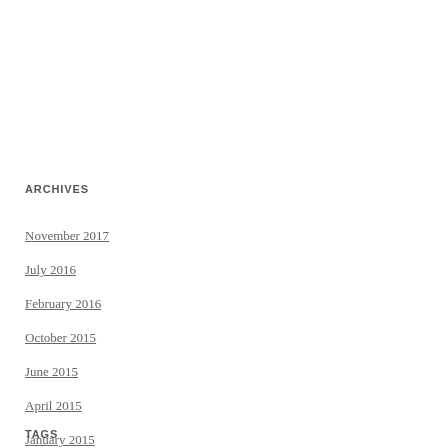ARCHIVES
November 2017
July 2016
February 2016
October 2015
June 2015
April 2015
January 2015
TAGS